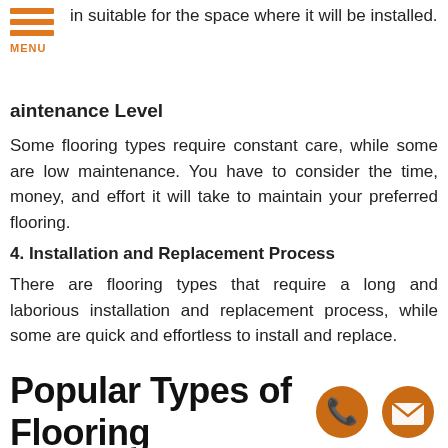MENU
in suitable for the space where it will be installed.
aintenance Level
Some flooring types require constant care, while some are low maintenance. You have to consider the time, money, and effort it will take to maintain your preferred flooring.
4. Installation and Replacement Process
There are flooring types that require a long and laborious installation and replacement process, while some are quick and effortless to install and replace.
Popular Types of Flooring
[Figure (illustration): Orange circular phone icon (call button)]
[Figure (illustration): Orange circular mail/envelope icon (email button)]